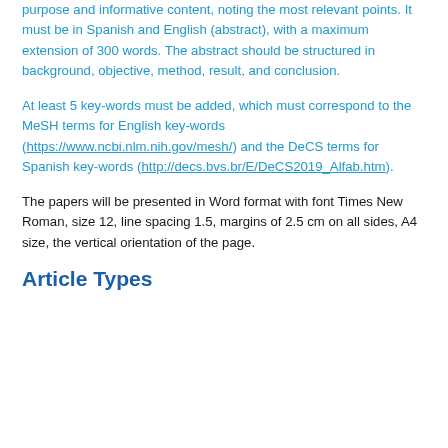purpose and informative content, noting the most relevant points. It must be in Spanish and English (abstract), with a maximum extension of 300 words. The abstract should be structured in background, objective, method, result, and conclusion.
At least 5 key-words must be added, which must correspond to the MeSH terms for English key-words (https://www.ncbi.nlm.nih.gov/mesh/) and the DeCS terms for Spanish key-words (http://decs.bvs.br/E/DeCS2019_Alfab.htm).
The papers will be presented in Word format with font Times New Roman, size 12, line spacing 1.5, margins of 2.5 cm on all sides, A4 size, the vertical orientation of the page.
Article Types